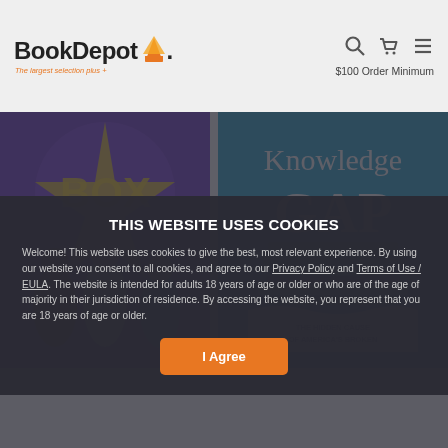BookDepot — The largest selection plus... $100 Order Minimum
[Figure (screenshot): BookDepot website screenshot showing two book covers: left is a colorful children's book with kids on a purple background (title partially visible '...Box'), right is 'Knowledge GAP - The Hidden Cause of America's Broken...' on a blue background. A cookie consent modal overlays the lower portion.]
THIS WEBSITE USES COOKIES
Welcome! This website uses cookies to give the best, most relevant experience. By using our website you consent to all cookies, and agree to our Privacy Policy and Terms of Use / EULA. The website is intended for adults 18 years of age or older or who are of the age of majority in their jurisdiction of residence. By accessing the website, you represent that you are 18 years of age or older.
I Agree